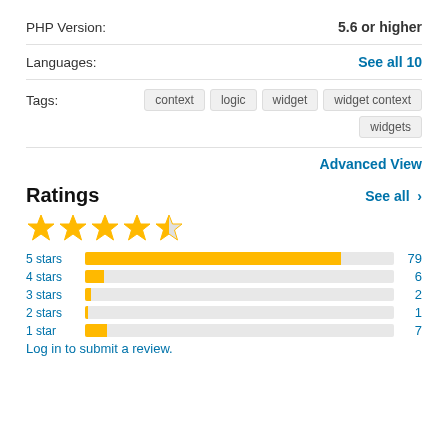PHP Version: 5.6 or higher
Languages: See all 10
Tags: context logic widget widget context widgets
Advanced View
Ratings
See all >
[Figure (other): 4.5 star rating shown with 5 gold/half stars]
[Figure (bar-chart): Ratings breakdown]
Log in to submit a review.